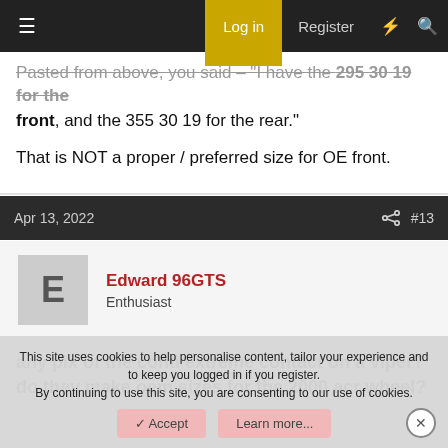Log in  Register
Pasted from above, you said – "I have the 295 30 19 for the front, and the 355 30 19 for the rear."
That is NOT a proper / preferred size for OE front.
Apr 13, 2022  #13
Edward 96GTS
Enthusiast
any pix of the conti extreme contact on a viper?
do they make oem sizes for the 2000 acr wheel?
This site uses cookies to help personalise content, tailor your experience and to keep you logged in if you register.
By continuing to use this site, you are consenting to our use of cookies.